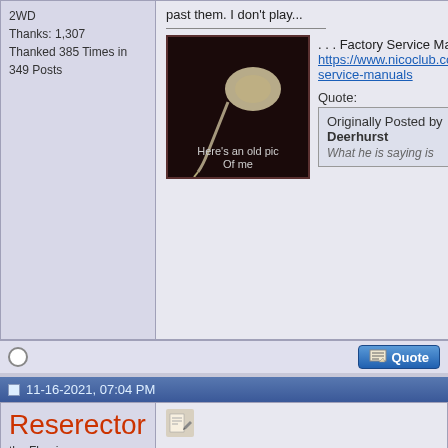2WD
Thanks: 1,307
Thanked 385 Times in 349 Posts
past them. I don't play...
[Figure (illustration): Dark image with sperm cell illustration, captioned 'Here's an old pic Of me']
. . . Factory Service Manuals:
https://www.nicoclub.com/nissan-service-manuals
Quote:
Originally Posted by Deerhurst
What he is saying is
11-16-2021, 07:04 PM
Reserector
the Flaming Marshmallow
[Figure (photo): Photo of a truck on rocky terrain outdoors]
I recently rode with a coworker at the wheel who had his hands on the steering wheel that started getting to ME. I don't get queasy, but this guy's driving was doing it.
That's my passive aggressive way of saying tha
[Figure (photo): Partial image preview at bottom right]